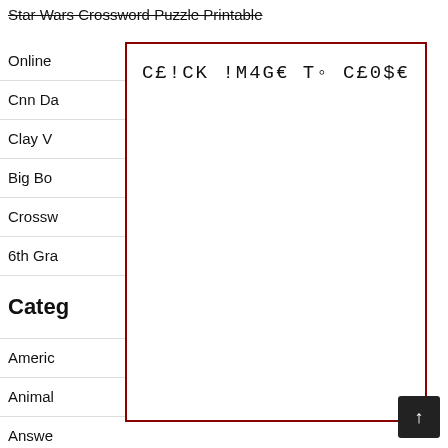Star Wars Crossword Puzzle Printable
Online
Cnn Da
Clay V
Big Bo
Crossw
6th Gra
Categ
Americ
Animal
Answe
Books
Chapter
[Figure (other): Modal overlay box with dark red border containing text: C£!CK !M4G€ TO C£0$€]
↑